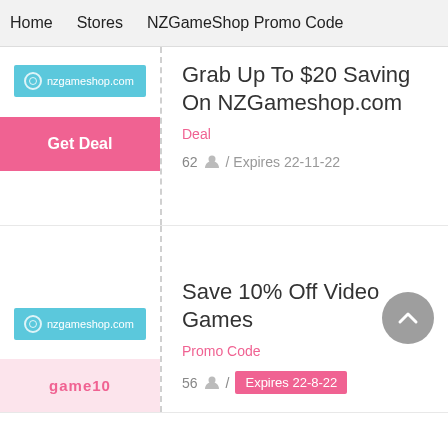Home   Stores   NZGameShop Promo Code
[Figure (screenshot): NZGameShop.com store badge with teal background]
Get Deal
Grab Up To $20 Saving On NZGameshop.com
Deal
62 / Expires 22-11-22
[Figure (screenshot): NZGameShop.com store badge with teal background, second card]
game10
Save 10% Off Video Games
Promo Code
56 / Expires 22-8-22